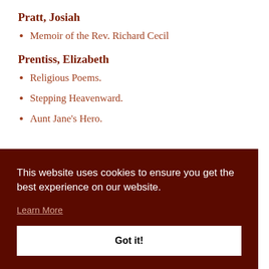Pratt, Josiah
Memoir of the Rev. Richard Cecil
Prentiss, Elizabeth
Religious Poems.
Stepping Heavenward.
Aunt Jane's Hero.
This website uses cookies to ensure you get the best experience on our website.
Learn More
Got it!